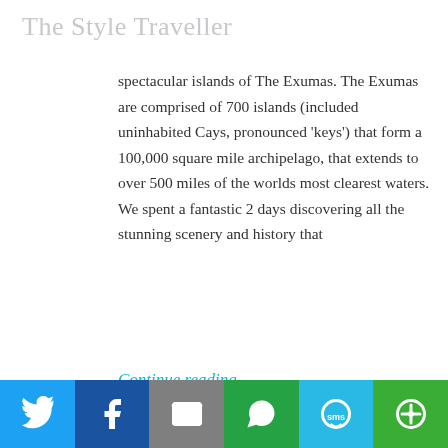The Style Traveller
spectacular islands of The Exumas. The Exumas are comprised of 700 islands (included uninhabited Cays, pronounced 'keys') that form a 100,000 square mile archipelago, that extends to over 500 miles of the worlds most clearest waters. We spent a fantastic 2 days discovering all the stunning scenery and history that
Continue reading...
[Figure (infographic): Sharing is caring! label with curved red arrow pointing to social media share buttons: Facebook (dark blue), Twitter (light blue), Pinterest (red), LinkedIn (blue), More (green)]
[Figure (infographic): Bottom share bar with six colored buttons: Twitter (light blue bird icon), Facebook (dark blue f icon), Email (gray envelope icon), WhatsApp (green chat icon), SMS (light blue sms icon), More (green circle-arrow icon)]